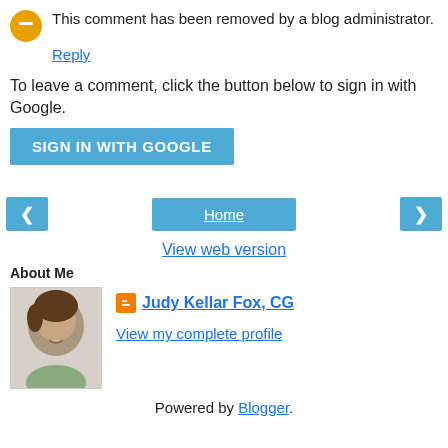This comment has been removed by a blog administrator.
Reply
To leave a comment, click the button below to sign in with Google.
SIGN IN WITH GOOGLE
Home
View web version
About Me
Judy Kellar Fox, CG
View my complete profile
Powered by Blogger.